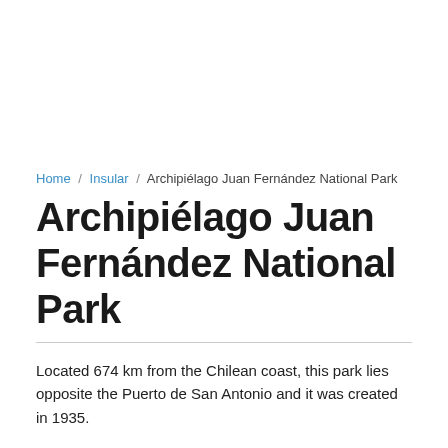Home / Insular / Archipiélago Juan Fernández National Park
Archipiélago Juan Fernández National Park
Located 674 km from the Chilean coast, this park lies opposite the Puerto de San Antonio and it was created in 1935.
The archipelago was declared a National Park by the Chilean Government and Reserva Mundial de la Biosfera, as a legacy to humanity (UNESCO 1977). The largest quantity of different endemic species of flora and fauna in the world can be found in the park.
It covers an area of 18,300 hectares, of which 9,300 belong to la